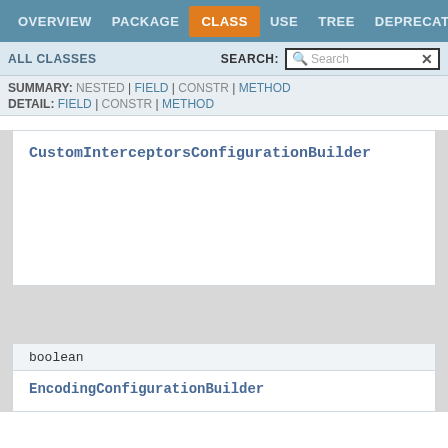OVERVIEW  PACKAGE  CLASS  USE  TREE  DEPRECATED
ALL CLASSES    SEARCH:  [Search]
SUMMARY: NESTED | FIELD | CONSTR | METHOD
DETAIL: FIELD | CONSTR | METHOD
CustomInterceptorsConfigurationBuilder
boolean
EncodingConfigurationBuilder